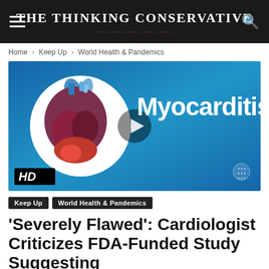The Thinking Conservative
Home › Keep Up › World Health & Pandemics
[Figure (screenshot): Video thumbnail showing a medical illustration of the heart in a white circle on a blue gradient background, with the word 'Myocarditis' in large white bold text to the right. A play button is overlaid in the center. An HD badge is in the lower left corner and a logo watermark in the lower right.]
Keep Up
World Health & Pandemics
'Severely Flawed': Cardiologist Criticizes FDA-Funded Study Suggesting